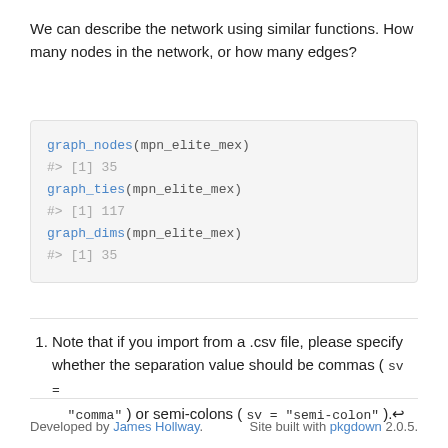We can describe the network using similar functions. How many nodes in the network, or how many edges?
[Figure (other): Code block showing R function calls: graph_nodes(mpn_elite_mex) returning 35, graph_ties(mpn_elite_mex) returning 117, graph_dims(mpn_elite_mex) returning 35]
Note that if you import from a .csv file, please specify whether the separation value should be commas ( sv = "comma" ) or semi-colons ( sv = "semi-colon" ).
Developed by James Hollway.   Site built with pkgdown 2.0.5.